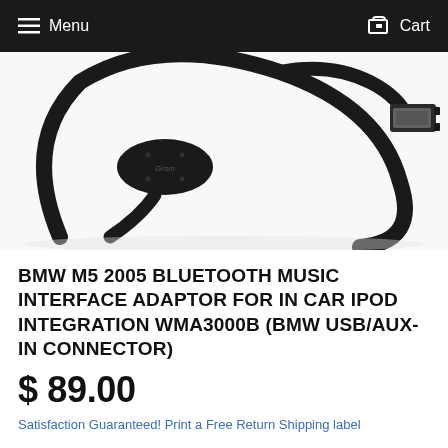Menu   Cart
[Figure (photo): Black USB Bluetooth adapter cable with inline module/dongle, showing a USB Type-A connector on one end and a coiled black cable with a branded adapter block in the middle, on a white background.]
BMW M5 2005 BLUETOOTH MUSIC INTERFACE ADAPTOR FOR IN CAR IPOD INTEGRATION WMA3000B (BMW USB/AUX-IN CONNECTOR)
$ 89.00
Satisfaction Guaranteed! Print a Free Return Shipping label